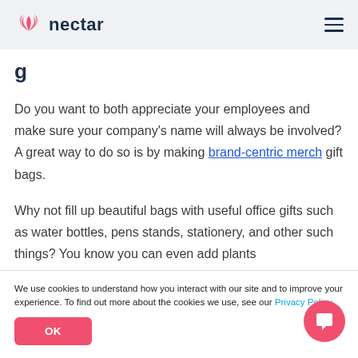nectar
Do you want to both appreciate your employees and make sure your company's name will always be involved? A great way to do so is by making brand-centric merch gift bags.
Why not fill up beautiful bags with useful office gifts such as water bottles, pens stands, stationery, and other such things? You know you can even add plants
We use cookies to understand how you interact with our site and to improve your experience. To find out more about the cookies we use, see our Privacy Policy.